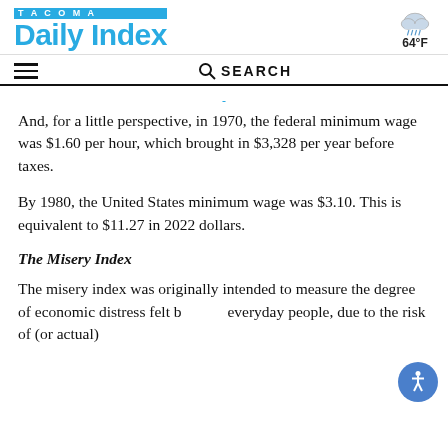TACOMA Daily Index — 64°F
And, for a little perspective, in 1970, the federal minimum wage was $1.60 per hour, which brought in $3,328 per year before taxes.
By 1980, the United States minimum wage was $3.10. This is equivalent to $11.27 in 2022 dollars.
The Misery Index
The misery index was originally intended to measure the degree of economic distress felt by everyday people, due to the risk of (or actual)